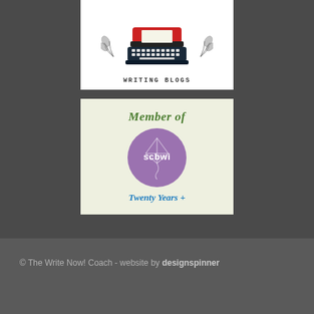[Figure (illustration): A white box showing an illustrated typewriter with red top in vintage style, with decorative leaves on either side, and text 'WRITING BLOGS' below in spaced monospace letters.]
[Figure (logo): A light green/cream box with 'Member of' text in green italic, a purple circle badge with a kite design and 'scbwi' text in white, and 'Twenty Years +' in blue italic below.]
© The Write Now! Coach - website by designspinner